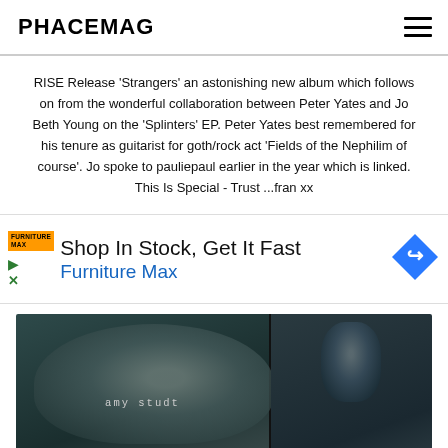PHACEMAG
RISE Release 'Strangers' an astonishing new album which follows on from the wonderful collaboration between Peter Yates and Jo Beth Young on the 'Splinters' EP. Peter Yates best remembered for his tenure as guitarist for goth/rock act 'Fields of the Nephilim of course'. Jo spoke to pauliepaul earlier in the year which is linked. This Is Special - Trust ...fran xx
[Figure (infographic): Advertisement banner for Furniture Max: 'Shop In Stock, Get It Fast - Furniture Max' with orange logo, blue arrow diamond icon, and play/close icons on left side]
[Figure (photo): Black and white split photo showing two close-up facial images. Left panel shows a face with text 'amy studt'. Right panel shows a close-up eye/face with partial text 'ho' visible.]